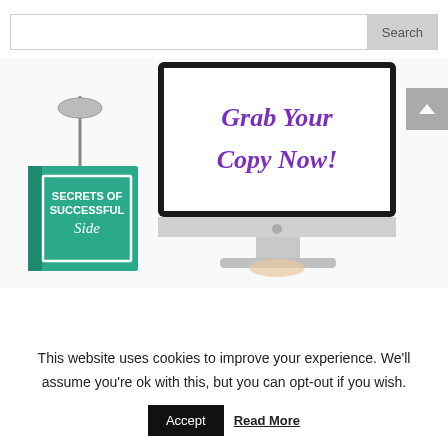[Figure (screenshot): Search bar with text input field and 'Search' button]
[Figure (illustration): Promotional image showing a book titled 'Secrets of Successful Side...' next to an iMac screen displaying 'Grab Your Copy Now!' in purple script text, with a desk lamp in the background]
This website uses cookies to improve your experience. We'll assume you're ok with this, but you can opt-out if you wish.
Accept  Read More